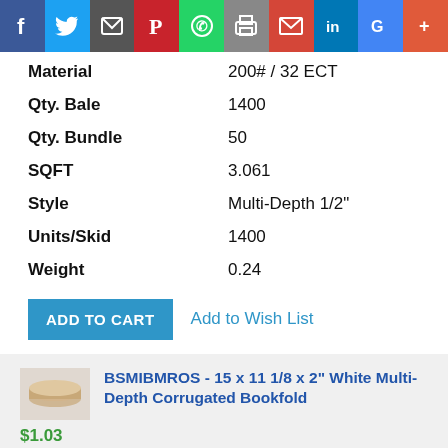[Figure (other): Social media sharing bar with icons: Facebook, Twitter, Email, Pinterest, WhatsApp, Print, Gmail, LinkedIn, Google, More]
| Attribute | Value |
| --- | --- |
| Material | 200# / 32 ECT |
| Qty. Bale | 1400 |
| Qty. Bundle | 50 |
| SQFT | 3.061 |
| Style | Multi-Depth 1/2" |
| Units/Skid | 1400 |
| Weight | 0.24 |
ADD TO CART  Add to Wish List
BSMIBMROS - 15 x 11 1/8 x 2" White Multi-Depth Corrugated Bookfold
$1.03
| Attribute | Value |
| --- | --- |
| Color | White |
| Holds | suggested use Computer |